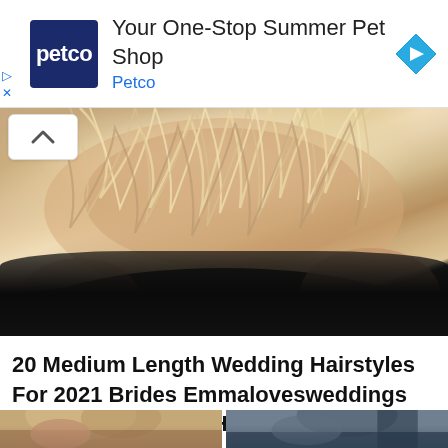[Figure (other): Petco advertisement banner: Petco logo (dark blue square with white 'petco' text), heading 'Your One-Stop Summer Pet Shop', subtext 'Petco' in blue, blue diamond arrow icon on right, play/close icons on left]
[Figure (photo): Close-up back view of a woman with medium-length blonde highlighted wavy hair wearing a black off-shoulder top]
20 Medium Length Wedding Hairstyles For 2021 Brides Emmalovesweddings Hair Vine Wedding Hair Styles Wedding Hairstyles Medium Length
[Figure (photo): Two partial photos side by side at the bottom of the page showing women with hairstyles, partially cropped]